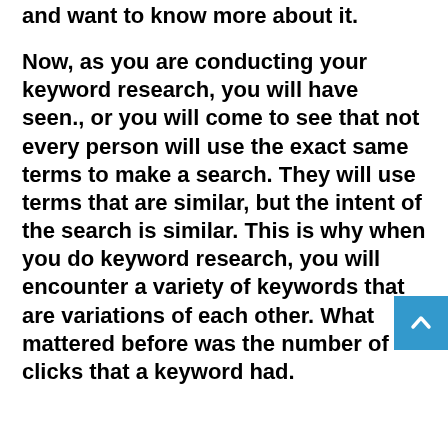and want to know more about it.

Now, as you are conducting your keyword research, you will have seen., or you will come to see that not every person will use the exact same terms to make a search. They will use terms that are similar, but the intent of the search is similar. This is why when you do keyword research, you will encounter a variety of keywords that are variations of each other. What mattered before was the number of clicks that a keyword had.